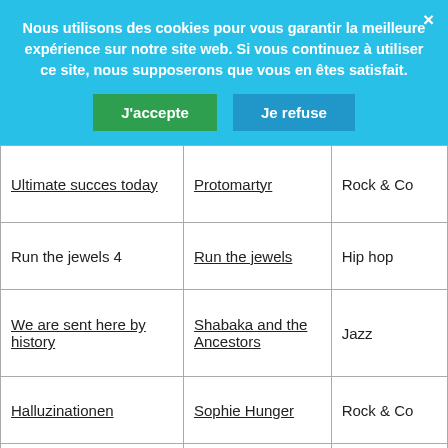Nous utilisons des cookies pour vous garantir la meilleure expérience sur notre site web. Si vous continuez à utiliser ce site, nous supposerons que vous en êtes satisfait.
J'accepte | Je refuse
| Ultimate succes today | Protomartyr | Rock & Co |
| Run the jewels 4 | Run the jewels | Hip hop |
| We are sent here by history | Shabaka and the Ancestors | Jazz |
| Halluzinationen | Sophie Hunger | Rock & Co |
| The Ascension | Sufjan Stevens | Rock & Co |
| Les forces contraires | Terrenoire | Chanson |